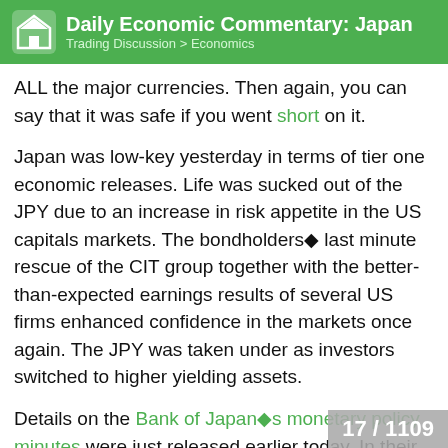Daily Economic Commentary: Japan — Trading Discussion > Economics
ALL the major currencies. Then again, you can say that it was safe if you went short on it.
Japan was low-key yesterday in terms of tier one economic releases. Life was sucked out of the JPY due to an increase in risk appetite in the US capitals markets. The bondholders◆ last minute rescue of the CIT group together with the better-than-expected earnings results of several US firms enhanced confidence in the markets once again. The JPY was taken under as investors switched to higher yielding assets.
Details on the Bank of Japan◆s monetary policy minutes were just released earlier today. In their meeting last month, the board members agreed that Japan◆s economic conditions had st...
17 / 1109